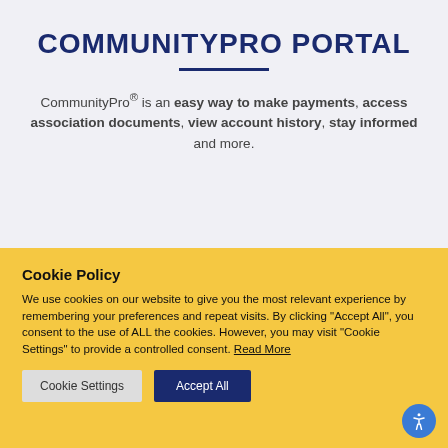COMMUNITYPRO PORTAL
CommunityPro® is an easy way to make payments, access association documents, view account history, stay informed and more.
Cookie Policy
We use cookies on our website to give you the most relevant experience by remembering your preferences and repeat visits. By clicking "Accept All", you consent to the use of ALL the cookies. However, you may visit "Cookie Settings" to provide a controlled consent. Read More